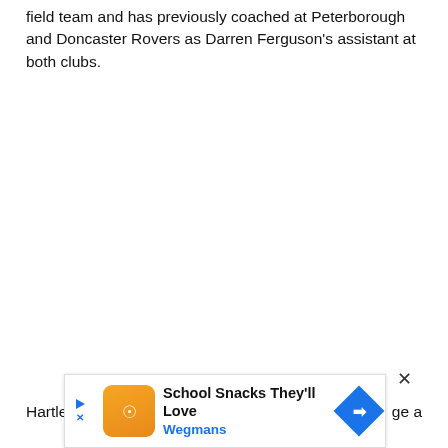field team and has previously coached at Peterborough and Doncaster Rovers as Darren Ferguson's assistant at both clubs.
Hartle[...] ge a
[Figure (screenshot): Advertisement banner for Wegmans 'School Snacks They'll Love' with logo, play button, and navigation arrow.]